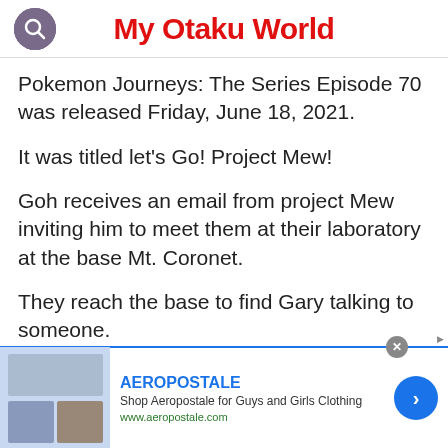My Otaku World
Pokemon Journeys: The Series Episode 70 was released Friday, June 18, 2021.
It was titled let’s Go! Project Mew!
Goh receives an email from project Mew inviting him to meet them at their laboratory at the base Mt. Coronet.
They reach the base to find Gary talking to someone.
[Figure (screenshot): Aeropostale advertisement banner with clothing images, brand name, shop description, and website URL]